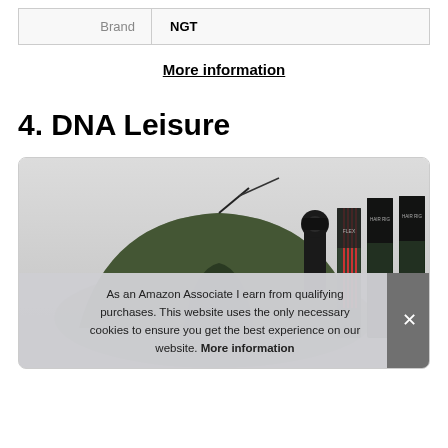| Brand | NGT |
| --- | --- |
| Brand | NGT |
More information
4. DNA Leisure
[Figure (photo): Product image showing a dark green fishing/camping tent alongside fishing accessories including rod supports, hair rigs packaging, and other tackle items.]
As an Amazon Associate I earn from qualifying purchases. This website uses the only necessary cookies to ensure you get the best experience on our website. More information